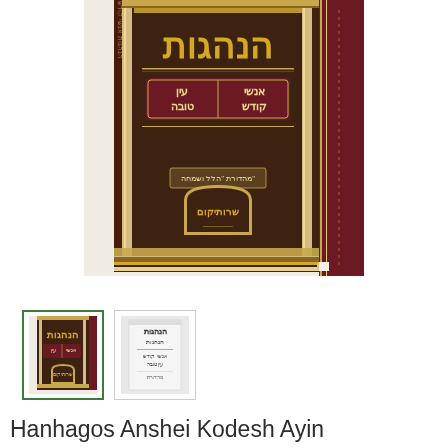[Figure (photo): Front cover of a Hebrew book titled Hanhagos Anshei Kodesh Ayin Tova. The cover is dark brown and maroon with gold Hebrew lettering and ornamental designs including a decorative arch emblem at the bottom center.]
[Figure (photo): Thumbnail image of the same book cover, selected (green border).]
[Figure (photo): Thumbnail image of another view of the same book showing a white/grey title page.]
Hanhagos Anshei Kodesh Ayin